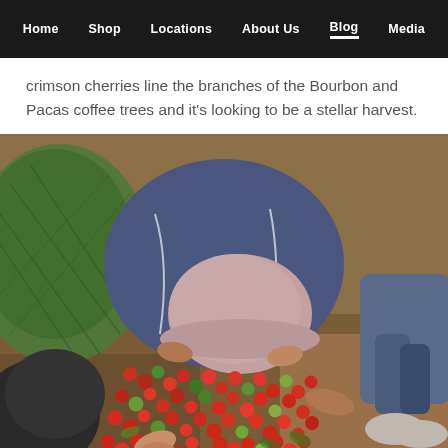Home | Shop | Locations | About Us | Blog | Media
crimson cherries line the branches of the Bourbon and Pacas coffee trees and it's looking to be a stellar harvest.
[Figure (photo): Overhead view of workers sorting red coffee cherries on the ground, with green netting bags nearby, shot from above showing a person in a blue shirt and pink cap bending over a pile of mixed red and green coffee cherries.]